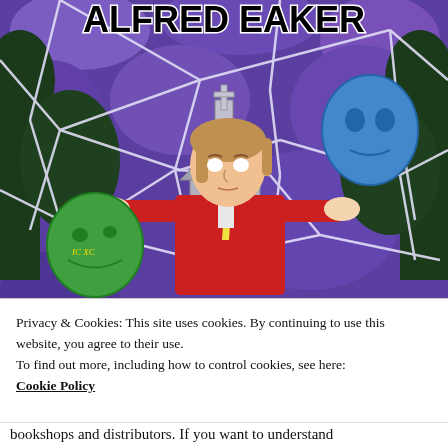[Figure (illustration): Comic book style illustration showing a young man in a red jacket with a yellow tie, holding apart a white web-like structure. Behind him is a church/chapel building with a cross on top. In the upper left area, a blue mask face appears. In the lower left, a green mask with 'IC XC' text. The background is purple with dark tree silhouettes. At the top, bold black text reads 'ALFRED EAKER'.]
Privacy & Cookies: This site uses cookies. By continuing to use this website, you agree to their use.
To find out more, including how to control cookies, see here:
Cookie Policy
bookshops and distributors. If you want to understand